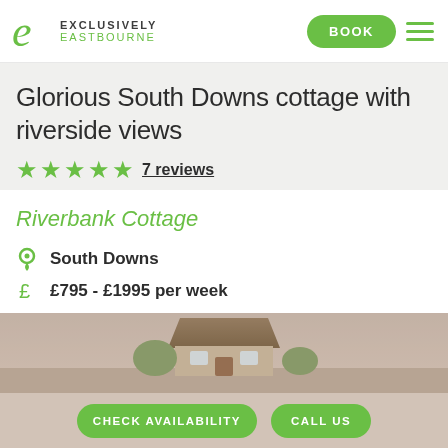EXCLUSIVELY EASTBOURNE — BOOK
Glorious South Downs cottage with riverside views
★★★★★ 7 reviews
Riverbank Cottage
South Downs
£795 - £1995 per week
3 bedrooms / sleeps 6
[Figure (photo): Photo strip of a cottage property in the South Downs]
CHECK AVAILABILITY   CALL US